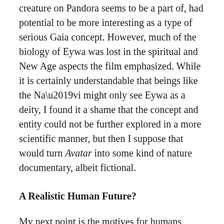creature on Pandora seems to be a part of, had potential to be more interesting as a type of serious Gaia concept. However, much of the biology of Eywa was lost in the spiritual and New Age aspects the film emphasized. While it is certainly understandable that beings like the Na’vi might only see Eywa as a deity, I found it a shame that the concept and entity could not be further explored in a more scientific manner, but then I suppose that would turn Avatar into some kind of nature documentary, albeit fictional.
A Realistic Human Future?
My next point is the motives for humans being on Pandora. While the need for resources and land and the removal of any group that happens to be occupying the place where those resources are by a stronger group is an unfortunate but age-old reality on this planet, how plausible will it be once our